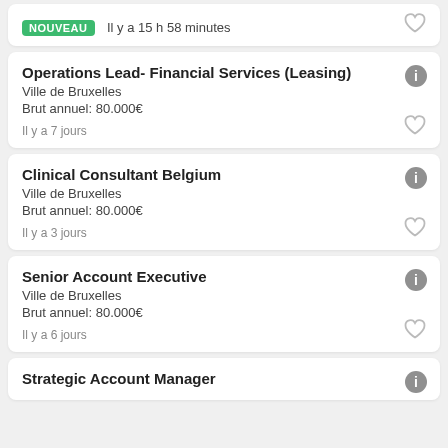NOUVEAU Il y a 15 h 58 minutes
Operations Lead- Financial Services (Leasing)
Ville de Bruxelles
Brut annuel: 80.000€
Il y a 7 jours
Clinical Consultant Belgium
Ville de Bruxelles
Brut annuel: 80.000€
Il y a 3 jours
Senior Account Executive
Ville de Bruxelles
Brut annuel: 80.000€
Il y a 6 jours
Strategic Account Manager